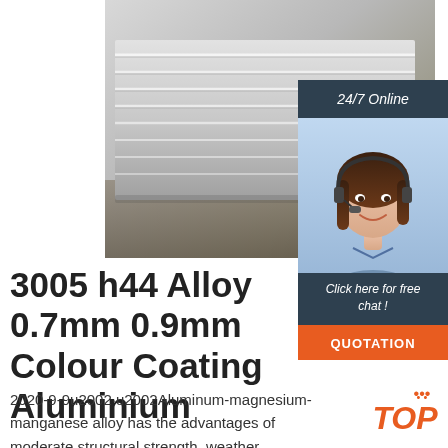[Figure (photo): Stacked aluminium sheets viewed from the side, showing ribbed/corrugated metal panels in grey/silver tones on a wooden floor background]
[Figure (photo): Customer service representative woman wearing headset, with '24/7 Online' header, 'Click here for free chat!' text, and orange QUOTATION button overlay on dark navy background]
3005 h44 Alloy 0.7mm 0.9mm Colour Coating Aluminium
2020-9-9u2002·u2002Aluminum-magnesium-manganese alloy has the advantages of moderate structural strength, weather resistance, stain resistance, and easy bending and welding processing. The service life under normal